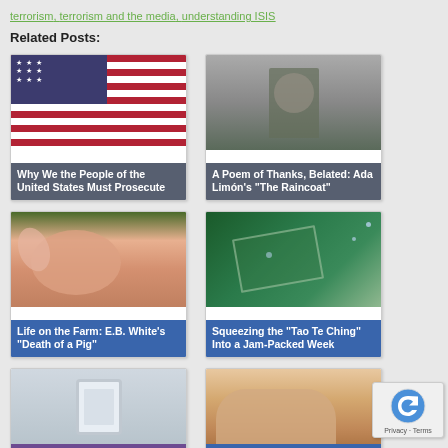terrorism, terrorism and the media, understanding ISIS
Related Posts:
[Figure (photo): American flag image with card caption: Why We the People of the United States Must Prosecute]
[Figure (photo): Black and white photo of a child wearing a raincoat hood. Caption: A Poem of Thanks, Belated: Ada Limón's "The Raincoat"]
[Figure (photo): Close-up of a pig's face. Caption: Life on the Farm: E.B. White's "Death of a Pig"]
[Figure (photo): Rain on green leaves. Caption: Squeezing the "Tao Te Ching" Into a Jam-Packed Week]
[Figure (photo): Tablet device illustration. Caption: Watching My]
[Figure (photo): Close-up of a hand/fingers. Caption: What Now? From]